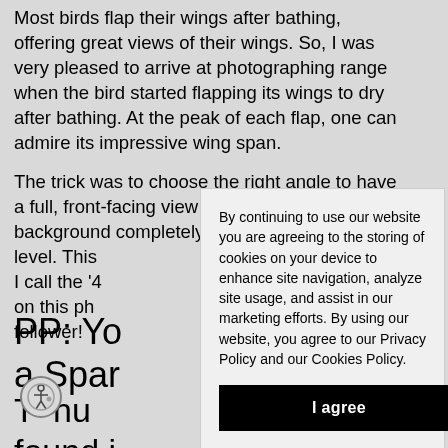Most birds flap their wings after bathing, offering great views of their wings. So, I was very pleased to arrive at photographing range when the bird started flapping its wings to dry after bathing. At the peak of each flap, one can admire its impressive wing span.
The trick was to choose the right angle to have a full, front-facing view while keeping the background completely [obscured by dialog] level. This [obscured] I call the '[obscured] on this ph[obscured] follower!
PP: Yo[ur] a Spar[row]
T[obscured] hu[nting] found i[n]
By continuing to use our website you are agreeing to the storing of cookies on your device to enhance site navigation, analyze site usage, and assist in our marketing efforts. By using our website, you agree to our Privacy Policy and our Cookies Policy.
I agree